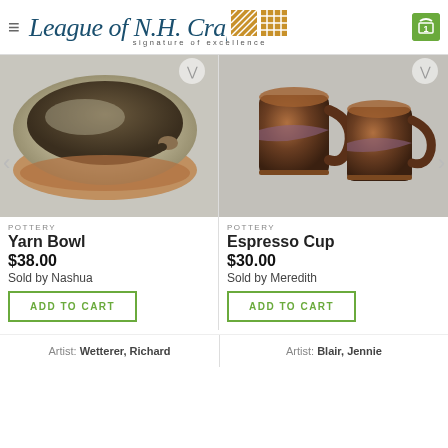League of N.H. Craftsmen — signature of excellence
[Figure (photo): Ceramic yarn bowl with greenish-grey glaze and decorative curled slot on rim]
POTTERY
Yarn Bowl
$38.00
Sold by Nashua
ADD TO CART
[Figure (photo): Two small espresso ceramic mugs with dark brown and rust glaze pattern]
POTTERY
Espresso Cup
$30.00
Sold by Meredith
ADD TO CART
Artist: Wetterer, Richard
Artist: Blair, Jennie